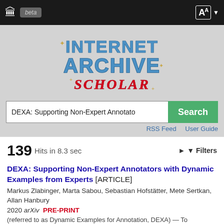Internet Archive Scholar - beta
[Figure (logo): Internet Archive Scholar logo with stylized blue metallic text 'INTERNET ARCHIVE' and red italic 'SCHOLAR' text, with decorative star/cross elements, on a gray background]
DEXA: Supporting Non-Expert Annotato [Search] RSS Feed  User Guide
139 Hits in 8.3 sec   ▶ 🔽 Filters
DEXA: Supporting Non-Expert Annotators with Dynamic Examples from Experts [ARTICLE]
Markus Zlabinger, Marta Sabou, Sebastian Hofstätter, Mete Sertkan, Allan Hanbury
2020 arXiv  PRE-PRINT
(referred to as Dynamic Examples for Annotation, DEXA) — To